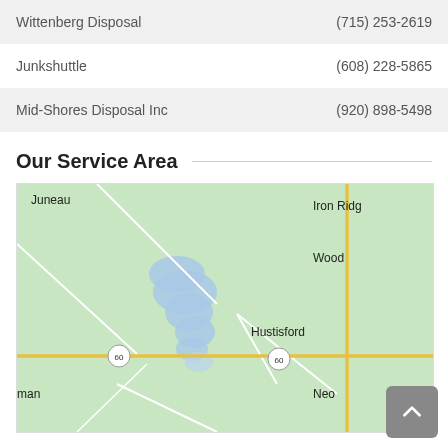| Name | Phone |
| --- | --- |
| Wittenberg Disposal | (715) 253-2619 |
| Junkshuttle | (608) 228-5865 |
| Mid-Shores Disposal Inc | (920) 898-5498 |
Our Service Area
[Figure (map): Map showing service area around Hustisford, Wisconsin, including Juneau, Iron Ridge, Wood, and Neosho areas. Route 60 is visible running horizontally. Several lakes are shown in blue.]